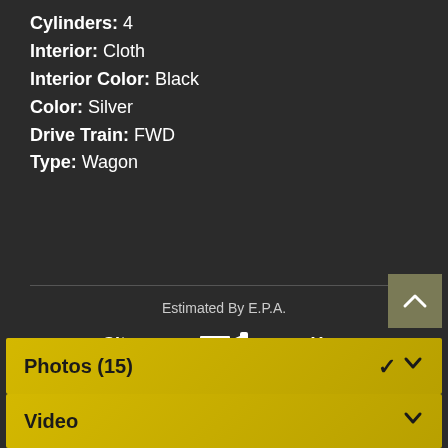Cylinders: 4
Interior: Cloth
Interior Color: Black
Color: Silver
Drive Train: FWD
Type: Wagon
Estimated By E.P.A.
City 0  Hwy 0
Actual Mileage May Vary
Photos (15)
Video